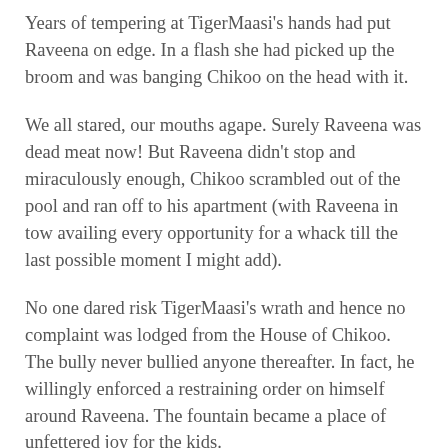Years of tempering at TigerMaasi's hands had put Raveena on edge. In a flash she had picked up the broom and was banging Chikoo on the head with it.
We all stared, our mouths agape. Surely Raveena was dead meat now! But Raveena didn't stop and miraculously enough, Chikoo scrambled out of the pool and ran off to his apartment (with Raveena in tow availing every opportunity for a whack till the last possible moment I might add).
No one dared risk TigerMaasi's wrath and hence no complaint was lodged from the House of Chikoo. The bully never bullied anyone thereafter. In fact, he willingly enforced a restraining order on himself around Raveena. The fountain became a place of unfettered joy for the kids.
Often I'll argue that I had my fair share of whacks during my childhood. But I grew up to become a total darpok (translation: wimp). So you'd think slaps aren't a good way of toughening a child. And every single time Raveena will pull an incident like this out of her bag and say "Could we have